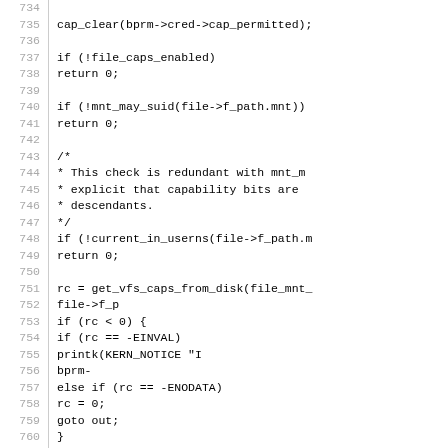[Figure (screenshot): Source code listing showing C kernel code lines 734-763, with line numbers on the left and code on the right. The code shows capability handling logic including cap_clear, file_caps_enabled check, mnt_may_suid check, a comment block, current_in_userns check, get_vfs_caps_from_disk call, rc error handling block with EINVAL and ENODATA cases, and bprm_caps_from_vfs_caps call.]